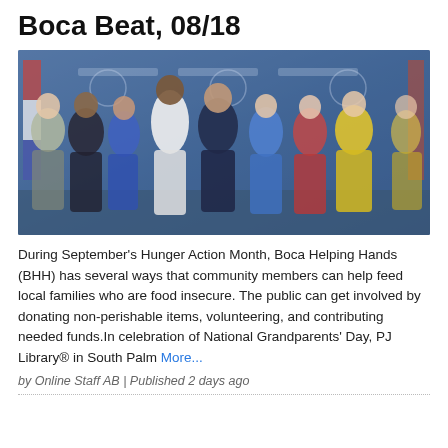Boca Beat, 08/18
[Figure (photo): Group photo of approximately 9 people posing together in front of a blue banner/backdrop, including men and women of various ages, one man in a navy suit in the center, one tall man in a white shirt, women in colorful dresses. An American flag is partially visible on the left.]
During September's Hunger Action Month, Boca Helping Hands (BHH) has several ways that community members can help feed local families who are food insecure. The public can get involved by donating non-perishable items, volunteering, and contributing needed funds.In celebration of National Grandparents' Day, PJ Library® in South Palm More...
by Online Staff AB | Published 2 days ago